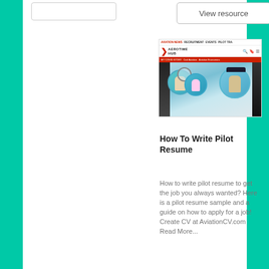[Figure (screenshot): Screenshot of Aerotime Hub website showing navigation bar with AVIATION NEWS, RECRUITMENT, EVENTS, PILOT TRA links, Aerotime Hub logo, a red secondary nav bar with MY COVID STORY, Civil Aviation, Aviation Economics, and a banner image showing aviation professionals in circular frames]
How To Write Pilot Resume
How to write pilot resume to get the job you always wanted? Here is a pilot resume sample and a guide on how to apply for a job! Create CV at AviationCV.com Read More...